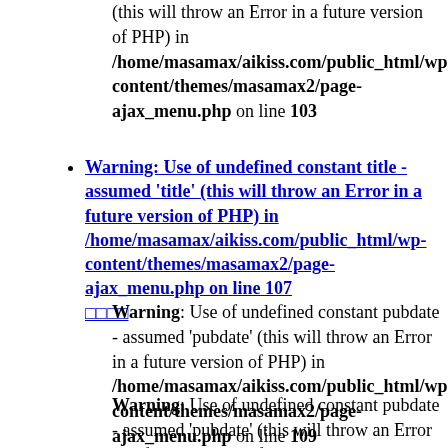(this will throw an Error in a future version of PHP) in /home/masamax/aikiss.com/public_html/wp-content/themes/masamax2/page-ajax_menu.php on line 103
Warning: Use of undefined constant title - assumed 'title' (this will throw an Error in a future version of PHP) in /home/masamax/aikiss.com/public_html/wp-content/themes/masamax2/page-ajax_menu.php on line 107 □□□□
Warning: Use of undefined constant pubdate - assumed 'pubdate' (this will throw an Error in a future version of PHP) in /home/masamax/aikiss.com/public_html/wp-content/themes/masamax2/page-ajax_menu.php on line 109
Warning: Use of undefined constant pubdate - assumed 'pubdate' (this will throw an Error in a future version of PHP) in ...